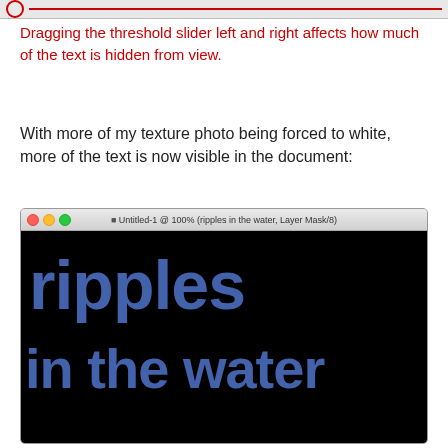[Figure (screenshot): Partial screenshot showing a red circle icon and a horizontal red line, part of a UI element (threshold slider interface)]
Dragging the threshold slider left and right affects how much of the text is hidden from view.
With more of my texture photo being forced to white, more of the text is now visible in the document:
[Figure (screenshot): Photoshop window titled 'Untitled-1 @ 100% (ripples in the water, Layer Mask/8)' showing a black canvas with blue distressed text reading 'ripples in the water']